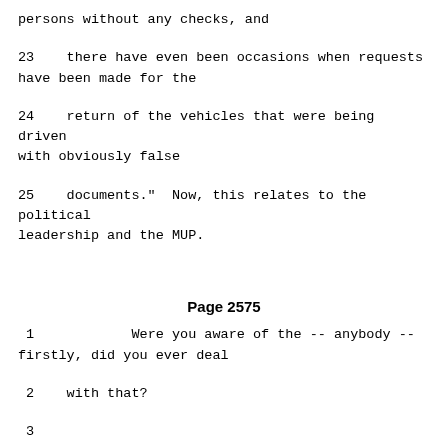persons without any checks, and
23    there have even been occasions when requests have been made for the
24    return of the vehicles that were being driven with obviously false
25    documents."  Now, this relates to the political leadership and the MUP.
Page 2575
1            Were you aware of the -- anybody -- firstly, did you ever deal
2    with that?
3